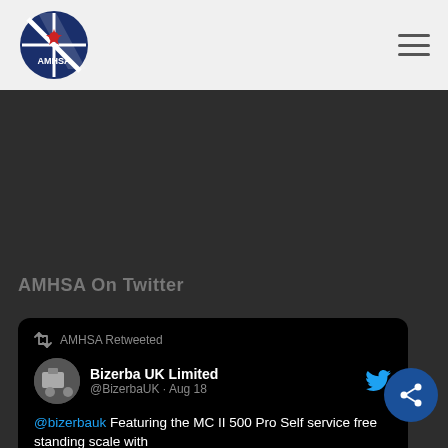[Figure (logo): AMHSA circular logo with dark blue background, red star/crosshair, white diagonal stripe and AMHSA text]
[Figure (other): Hamburger menu icon (three horizontal lines) in top right corner]
AMHSA On Twitter
AMHSA Retweeted
Bizerba UK Limited @BizerbaUK · Aug 18
@bizerbauk Featuring the MC II 500 Pro Self service free standing scale with